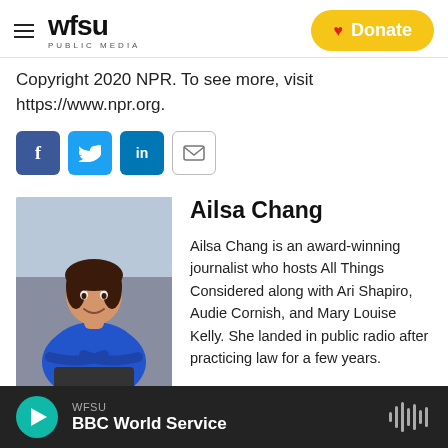WFSU PUBLIC MEDIA | Donate
Copyright 2020 NPR. To see more, visit https://www.npr.org.
[Figure (other): Social sharing buttons: Facebook, Twitter, LinkedIn, Email]
[Figure (photo): Professional headshot photo of Ailsa Chang, a woman in a blue top with arms crossed, smiling]
Ailsa Chang
Ailsa Chang is an award-winning journalist who hosts All Things Considered along with Ari Shapiro, Audie Cornish, and Mary Louise Kelly. She landed in public radio after practicing law for a few years.
WFSU | BBC World Service